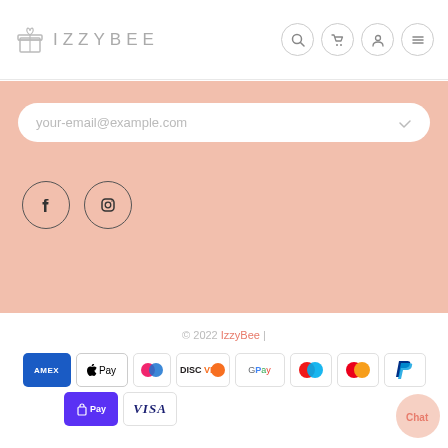IZZYBEE
[Figure (screenshot): Email subscription input field with pink background showing 'your-email@example.com' placeholder]
[Figure (illustration): Social media icons: Facebook and Instagram circles]
© 2022 IzzyBee |
[Figure (infographic): Payment method icons: AMEX, Apple Pay, Diners Club, Discover, Google Pay, Maestro, Mastercard, PayPal, Shop Pay, Visa]